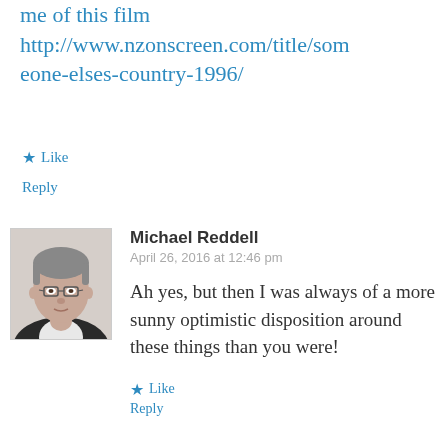me of this film http://www.nzonscreen.com/title/someone-elses-country-1996/
★ Like
Reply
[Figure (photo): Profile photo of Michael Reddell, a middle-aged man with glasses wearing a suit]
Michael Reddell
April 26, 2016 at 12:46 pm
Ah yes, but then I was always of a more sunny optimistic disposition around these things than you were!
★ Like
Reply